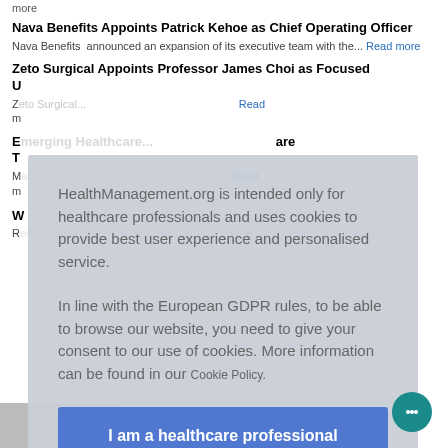more
Nava Benefits Appoints Patrick Kehoe as Chief Operating Officer
Nava Benefits announced an expansion of its executive team with the... Read more
Zeto Surgical Appoints Professor James Choi as Focused...
Z... Read more
Emerging Healthcare Technologies Reshaping Care T...
M... Read more
W...
R... e
HealthManagement.org is intended only for healthcare professionals and uses cookies to provide best user experience and personalised service.

In line with the European GDPR rules, to be able to browse our website, you need to give your consent to our use of cookies. More information can be found in our Cookie Policy.
I am a healthcare professional and consent to the use of cookies